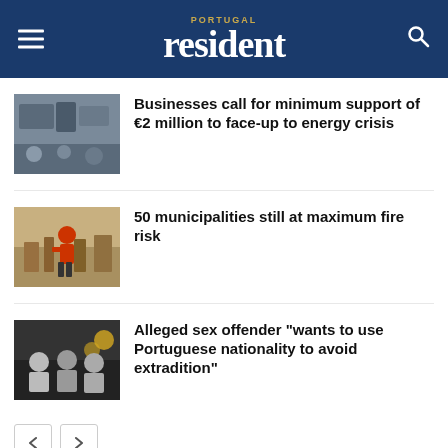PORTUGAL resident
Businesses call for minimum support of €2 million to face-up to energy crisis
50 municipalities still at maximum fire risk
Alleged sex offender “wants to use Portuguese nationality to avoid extradition”